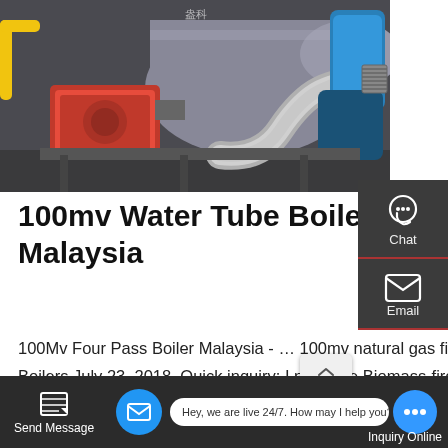[Figure (photo): Industrial water tube boiler system with red burner, stainless steel pipes and blue pressure tanks in a factory setting]
100mv Water Tube Boiler Malaysia
100Mv Four Pass Boiler Malaysia - … 100mv natural gas fired 100mv water tube boiler Sierra Leone. charles Boilers July 23, 2018. Quick inquiry: I need the Biomass-fired Steam Boilers -
…